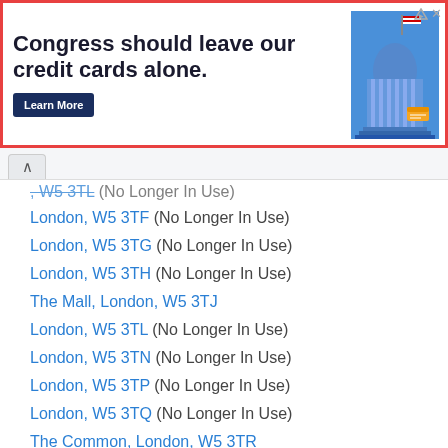[Figure (other): Advertisement banner: 'Congress should leave our credit cards alone.' with Learn More button and Capitol building illustration]
London, W5 3TF (No Longer In Use)
London, W5 3TG (No Longer In Use)
London, W5 3TH (No Longer In Use)
The Mall, London, W5 3TJ
London, W5 3TL (No Longer In Use)
London, W5 3TN (No Longer In Use)
London, W5 3TP (No Longer In Use)
London, W5 3TQ (No Longer In Use)
The Common, London, W5 3TR
London, W5 3TS (No Longer In Use)
The Common, London, W5 3TT
Florence Road, London, W5 3TU